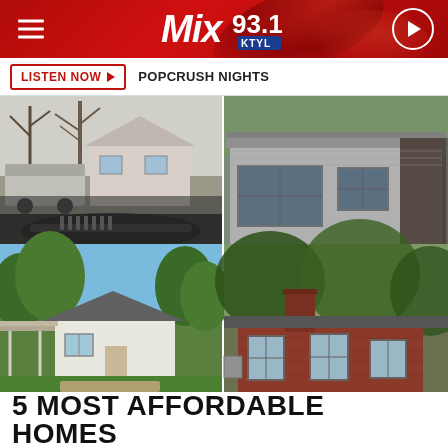Mix 93.1 KTYL
LISTEN NOW ▶  POPCRUSH NIGHTS
[Figure (photo): Collage of four house exterior photos showing affordable homes for sale in what appears to be a rural or suburban area of East Texas]
5 MOST AFFORDABLE HOMES